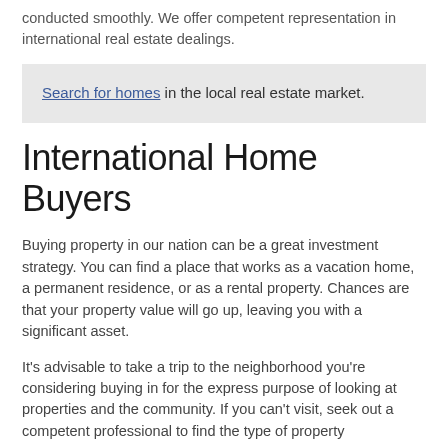conducted smoothly. We offer competent representation in international real estate dealings.
Search for homes in the local real estate market.
International Home Buyers
Buying property in our nation can be a great investment strategy. You can find a place that works as a vacation home, a permanent residence, or as a rental property. Chances are that your property value will go up, leaving you with a significant asset.
It's advisable to take a trip to the neighborhood you're considering buying in for the express purpose of looking at properties and the community. If you can't visit, seek out a competent professional to find the type of property